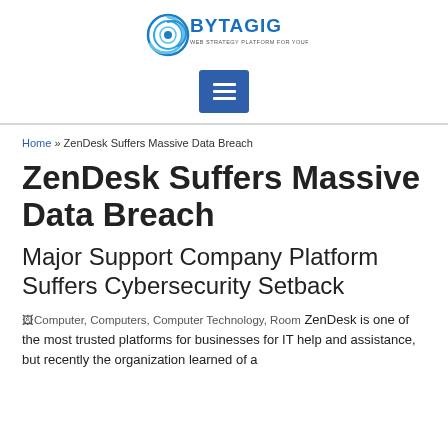[Figure (logo): BYTAGIG company logo with blue circular swirl icon and text]
[Figure (other): Blue square hamburger menu button with three white horizontal lines]
Home » ZenDesk Suffers Massive Data Breach
ZenDesk Suffers Massive Data Breach
Major Support Company Platform Suffers Cybersecurity Setback
[Figure (other): Broken image placeholder with alt text: Computer, Computers, Computer Technology, Room]
ZenDesk is one of the most trusted platforms for businesses for IT help and assistance, but recently the organization learned of a